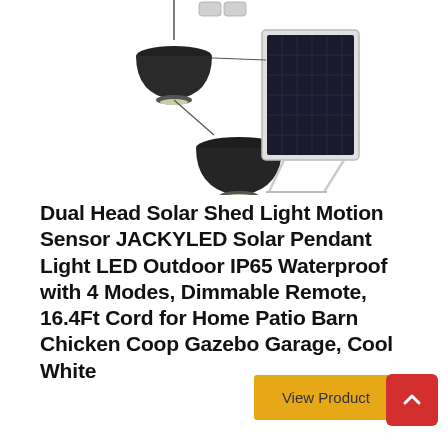[Figure (photo): Product photo showing two black solar pendant lights with a solar panel on a stand and a motion sensor unit on top]
Dual Head Solar Shed Light Motion Sensor JACKYLED Solar Pendant Light LED Outdoor IP65 Waterproof with 4 Modes, Dimmable Remote, 16.4Ft Cord for Home Patio Barn Chicken Coop Gazebo Garage, Cool White
View Product